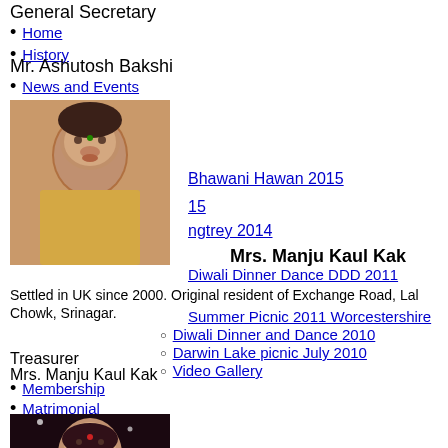General Secretary
Home
History
Mr. Ashutosh Bakshi
News and Events
[Figure (photo): Portrait photo of a woman with bindi, dark hair pulled back, wearing yellow/orange clothing]
Bhawani Hawan 2015
15
ngtrey 2014
Mrs. Manju Kaul Kak
Diwali Dinner Dance DDD 2011
Settled in UK since 2000. Original resident of Exchange Road, Lal Chowk, Srinagar.
Summer Picnic 2011 Worcestershire
Diwali Dinner and Dance 2010
Darwin Lake picnic July 2010
Video Gallery
Treasurer
Membership
Mrs. Manju Kaul Kak
Matrimonial
[Figure (photo): Portrait photo of a woman with bindi, long dark hair, smiling, against dark background]